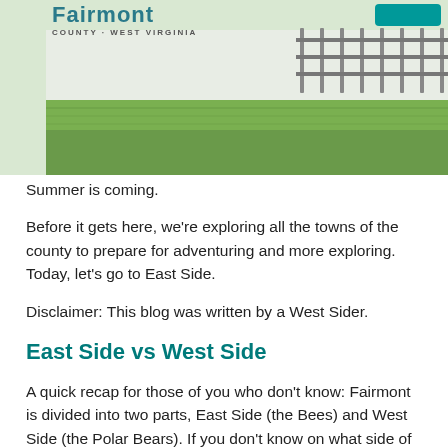[Figure (photo): Header image showing Fairmont County West Virginia text/logo over a park or outdoor area with green grass and a fence structure in the background. A teal button is visible in the top right corner.]
Summer is coming.
Before it gets here, we're exploring all the towns of the county to prepare for adventuring and more exploring. Today, let's go to East Side.
Disclaimer: This blog was written by a West Sider.
East Side vs West Side
A quick recap for those of you who don't know: Fairmont is divided into two parts, East Side (the Bees) and West Side (the Polar Bears). If you don't know on what side of the Monongahela you live and work, keep reading.
The Bee and the Polar Bear are mascots of Fairmont's